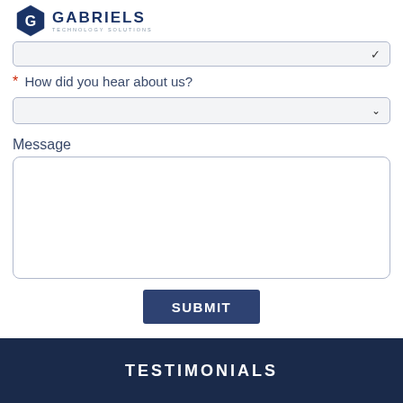[Figure (logo): Gabriels Technology Solutions logo — dark blue hexagon with G inside, company name in bold dark blue capitals, subtitle 'TECHNOLOGY SOLUTIONS' in smaller grey text]
* How did you hear about us?
Message
SUBMIT
TESTIMONIALS